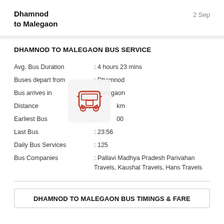Dhamnod to Malegaon
2 Sep
DHAMNOD TO MALEGAON BUS SERVICE
| Field | Value |
| --- | --- |
| Avg. Bus Duration | : 4 hours 23 mins |
| Buses depart from | : Dhamnod |
| Bus arrives in | : Malegaon |
| Distance | : km |
| Earliest Bus | : 00 |
| Last Bus | : 23:56 |
| Daily Bus Services | : 125 |
| Bus Companies | : Pallavi Madhya Pradesh Parivahan Travels, Kaushal Travels, Hans Travels |
[Figure (illustration): Red bus icon on a light grey rounded rectangle background]
DHAMNOD TO MALEGAON BUS TIMINGS & FARE